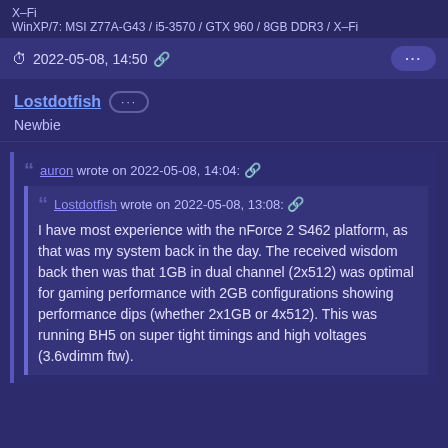X–Fi
WinXP/7: MSI Z77A-G43 / i5-3570 / GTX 960 / 8GB DDR3 / X–Fi
2022-05-08, 14:50
Lostdotfish ···
Newbie
auron wrote on 2022-05-08, 14:04:

Lostdotfish wrote on 2022-05-08, 13:08:

I have most experience with the nForce 2 S462 platform, as that was my system back in the day. The received wisdom back then was that 1GB in dual channel (2x512) was optimal for gaming performance with 2GB configurations showing performance dips (whether 2x1GB or 4x512). This was running BH5 on super tight timings and high voltages (3.6vdimm ftw).